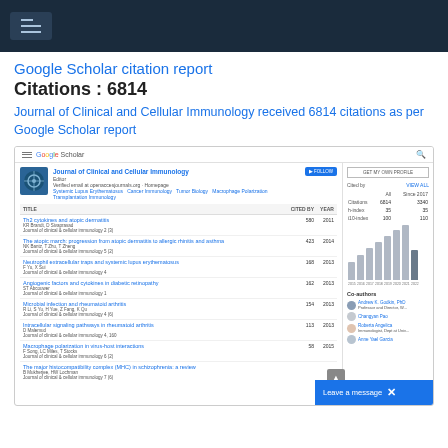Google Scholar citation report
Citations : 6814
Journal of Clinical and Cellular Immunology received 6814 citations as per Google Scholar report
[Figure (screenshot): Screenshot of Google Scholar profile for Journal of Clinical and Cellular Immunology showing citation stats: Citations All 6814, Since 2017 3340; h-index All 35, Since 2017 35; i10-index All 100, Since 2017 110. Bar chart of citations by year (2015-2022). Top articles listed with cited-by counts. Co-authors section visible. 'Leave a message' chat bubble at bottom right.]